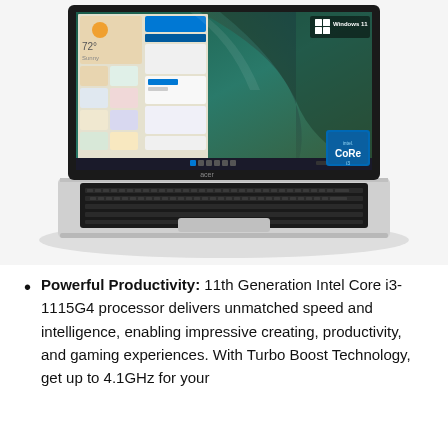[Figure (photo): Acer laptop open showing Windows 11 interface on screen. Screen displays Windows 11 widgets panel and wallpaper. Windows 11 logo badge visible in top-right of screen. Intel Core badge visible in bottom-right of screen. Laptop has silver aluminum body and black keyboard. Laptop is photographed from a slightly elevated front angle.]
Powerful Productivity: 11th Generation Intel Core i3-1115G4 processor delivers unmatched speed and intelligence, enabling impressive creating, productivity, and gaming experiences. With Turbo Boost Technology, get up to 4.1GHz for your